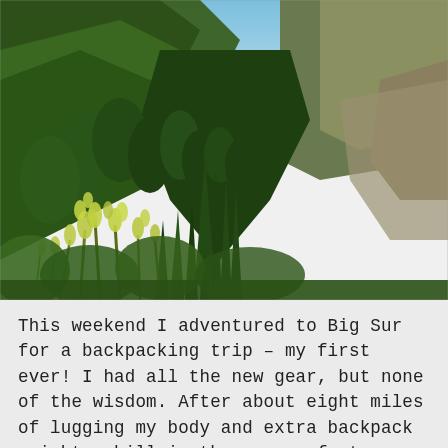[Figure (photo): Aerial view of a forested mountain valley at Big Sur, with dense green conifers and chaparral covering steep hillsides, a blue ocean horizon visible in the upper right, and yellow-green flowering shrubs in the foreground under a clear blue sky.]
This weekend I adventured to Big Sur for a backpacking trip – my first ever! I had all the new gear, but none of the wisdom. After about eight miles of lugging my body and extra backpack weight uphill in the sun my feet were swollen and